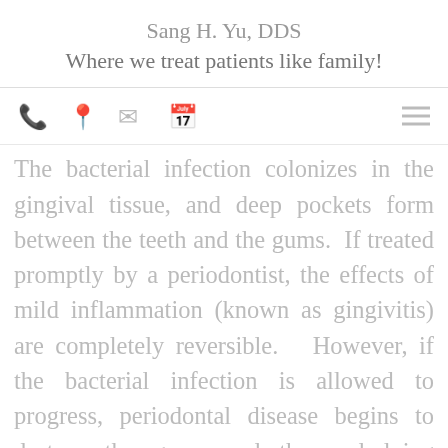Sang H. Yu, DDS
Where we treat patients like family!
[Figure (infographic): Navigation bar with icons: phone, location pin, envelope, calendar, and hamburger menu on the right]
The bacterial infection colonizes in the gingival tissue, and deep pockets form between the teeth and the gums. If treated promptly by a periodontist, the effects of mild inflammation (known as gingivitis) are completely reversible. However, if the bacterial infection is allowed to progress, periodontal disease begins to destroy the gums and the underlying jawbone, promoting tooth loss. In some cases, the bacteria from this infection can travel to other areas of the